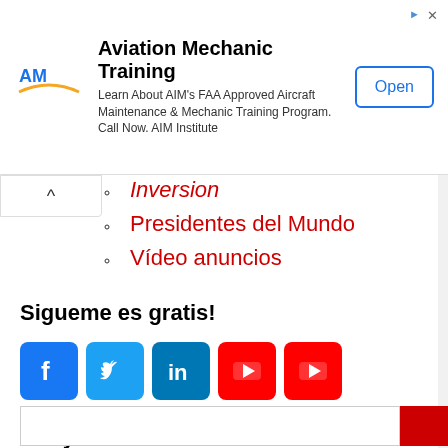[Figure (infographic): Aviation Mechanic Training advertisement banner with AIM logo, description text, and Open button]
Inversion
Presidentes del Mundo
Vídeo anuncios
Sigueme es gratis!
[Figure (infographic): Social media icons: Facebook (blue), Twitter (blue), LinkedIn (teal), YouTube (red), YouTube (red)]
Kuoyifu.com Facebook